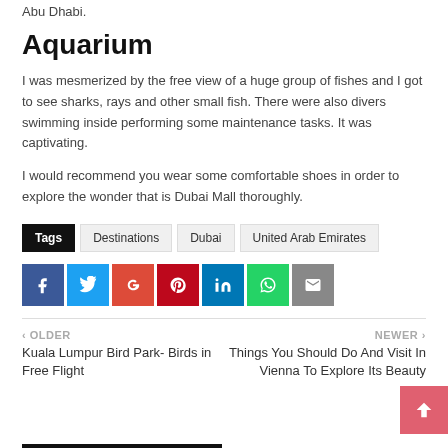Abu Dhabi.
Aquarium
I was mesmerized by the free view of a huge group of fishes and I got to see sharks, rays and other small fish. There were also divers swimming inside performing some maintenance tasks. It was captivating.
I would recommend you wear some comfortable shoes in order to explore the wonder that is Dubai Mall thoroughly.
Tags  Destinations  Dubai  United Arab Emirates
[Figure (infographic): Social sharing buttons: Facebook (blue), Twitter (light blue), Google+ (red), Pinterest (dark red), LinkedIn (blue), WhatsApp (green), Email (grey)]
< OLDER
Kuala Lumpur Bird Park- Birds in Free Flight
NEWER >
Things You Should Do And Visit In Vienna To Explore Its Beauty